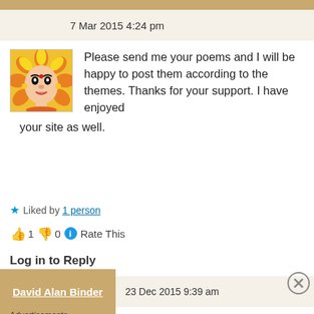7 Mar 2015 4:24 pm
[Figure (photo): Avatar: colorful illustration of a deity face with yellow and orange floral decoration]
Please send me your poems and I will be happy to post them according to the themes. Thanks for your support. I have enjoyed your site as well.
★ Liked by 1 person
👍 1 👎 0 ℹ Rate This
Log in to Reply
David Alan Binder  23 Dec 2015 9:39 am
Advertisements
[Figure (infographic): DuckDuckGo advertisement banner: Search, browse, and email with more privacy. All in One Free App]